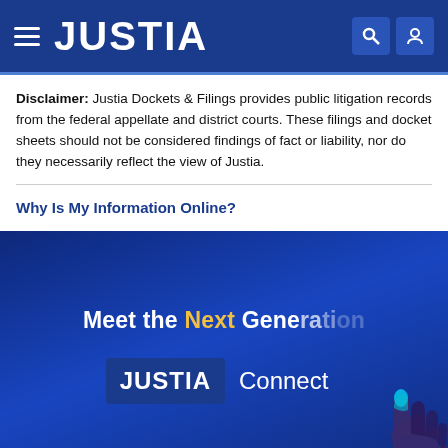JUSTIA
Disclaimer: Justia Dockets & Filings provides public litigation records from the federal appellate and district courts. These filings and docket sheets should not be considered findings of fact or liability, nor do they necessarily reflect the view of Justia.
Why Is My Information Online?
[Figure (infographic): Justia Connect promotional banner with dark blue background. Text reads 'Meet the Next Generation' with 'Next' in yellow and 'Generation' fading to semi-transparent. Below is a 'JUSTIA Connect' badge with a hand pointer icon in the bottom right corner.]